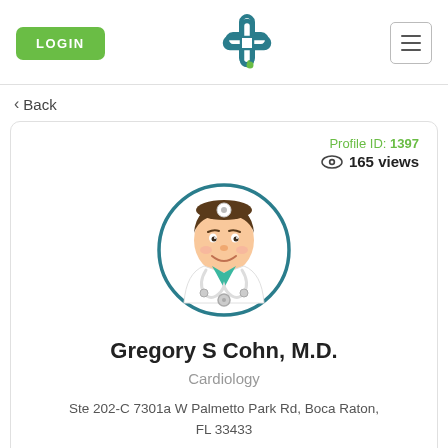[Figure (logo): Medical website header with LOGIN button, a medical cross/plus logo, and hamburger menu icon]
< Back
[Figure (illustration): Doctor profile illustration: cartoon male doctor in white coat with stethoscope inside a teal circle border]
Profile ID: 1397
165 views
Gregory S Cohn, M.D.
Cardiology
Ste 202-C 7301a W Palmetto Park Rd, Boca Raton, FL 33433